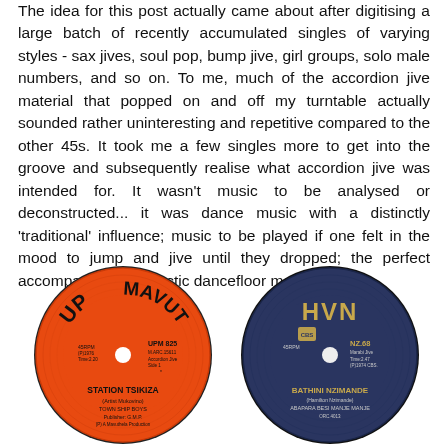The idea for this post actually came about after digitising a large batch of recently accumulated singles of varying styles - sax jives, soul pop, bump jive, girl groups, solo male numbers, and so on. To me, much of the accordion jive material that popped on and off my turntable actually sounded rather uninteresting and repetitive compared to the other 45s. It took me a few singles more to get into the groove and subsequently realise what accordion jive was intended for. It wasn't music to be analysed or deconstructed... it was dance music with a distinctly 'traditional' influence; music to be played if one felt in the mood to jump and jive until they dropped; the perfect accompaniment to hectic dancefloor moves.
[Figure (photo): Two vinyl 45 RPM records side by side. Left: an orange record label reading 'UP MAVUTHELA' with song 'STATION TSIKIZA' by Town Ship Boys, catalogue number UPM 825. Right: a dark navy/blue record label reading 'HVN' with CBS logo, song 'BATHINI NZIMANDE' by Abapara Besi Manje Manje, catalogue number NZ.68.]